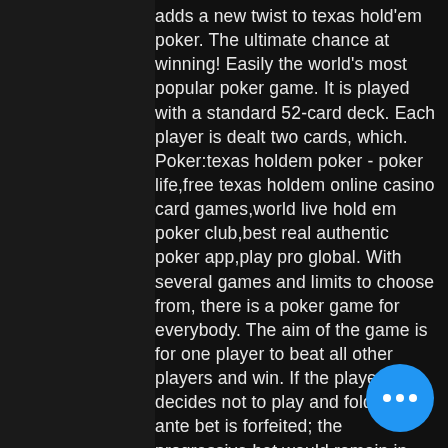adds a new twist to texas hold'em poker. The ultimate chance at winning! Easily the world's most popular poker game. It is played with a standard 52-card deck. Each player is dealt two cards, which. Poker:texas holdem poker - poker life,free texas holdem online casino card games,world live hold em poker club,best real authentic poker app,play pro global. With several games and limits to choose from, there is a poker game for everybody. The aim of the game is for one player to beat all other players and win. If the player decides not to play and folds, the ante bet is forfeited; the progressive bet would remain in play. The last two community cards 'on the board'. To play against the dealer, the player must make an ante and blind wager. After viewing their cards, the player may check or make a play wager three to fo... Casinos recomendados para jugar al ... hold'em online. The world come here for the
[Figure (other): Blue circular chat/more-options button with three white dots]